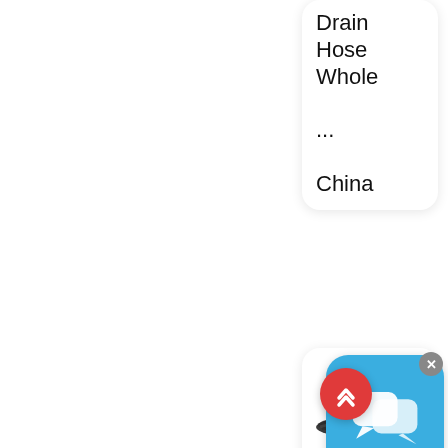Drain
Hose
Whole
...
China
[Figure (photo): A dark rubber suction and delivery hose coiled/curved, partially visible]
Suctio
&
Deliver
Hose
–
Transo
Extrusi
Ltd
[Figure (screenshot): Chat popup icon with speech bubble on blue background with close X button]
[Figure (other): Red circular scroll-to-top button with up chevron arrows]